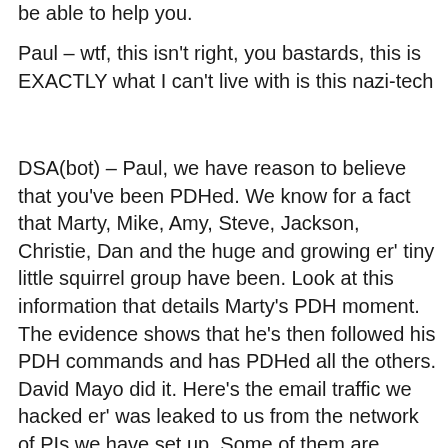be able to help you.
Paul – wtf, this isn't right, you bastards, this is EXACTLY what I can't live with is this nazi-tech
DSA(bot) – Paul, we have reason to believe that you've been PDHed. We know for a fact that Marty, Mike, Amy, Steve, Jackson, Christie, Dan and the huge and growing er' tiny little squirrel group have been. Look at this information that details Marty's PDH moment. The evidence shows that he's then followed his PDH commands and has PDHed all the others. David Mayo did it. Here's the email traffic we hacked er' was leaked to us from the network of PIs we have set up. Some of them are entrenched in the actual hole Marty dug under his house where he's keeping hundreds or a couple of the